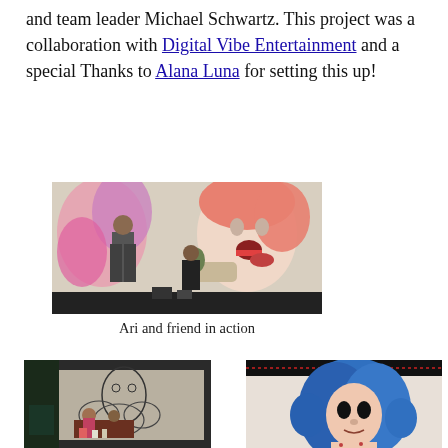and team leader Michael Schwartz. This project was a collaboration with Digital Vibe Entertainment and a special Thanks to Alana Luna for setting this up!
[Figure (photo): Two artists painting a large mural on a wall featuring surreal figures including a woman's face with tongue out and a hand holding a lizard, with pink and purple abstract shapes]
Ari and friend in action
[Figure (photo): Interior room scene with people working on a mural featuring outline drawings of large faces and cloud-like shapes on walls, with art supplies on a table]
[Figure (photo): Close-up of a mural painting showing a figure with large blue hair, dark hollow eyes, and a body covered in small marks or tattoos, on a light background]